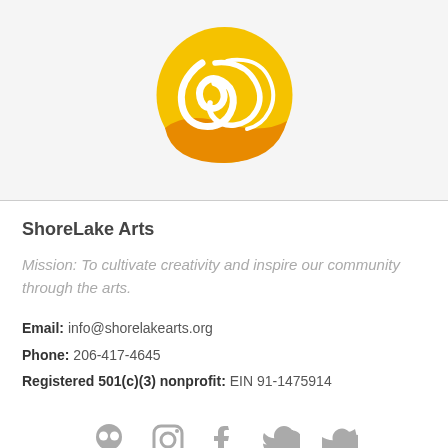[Figure (logo): ShoreLake Arts logo: golden yellow circle with white wave/curl design and orange wave at bottom]
ShoreLake Arts
Mission: To cultivate creativity and inspire our community through the arts.
Email: info@shorelakearts.org
Phone: 206-417-4645
Registered 501(c)(3) nonprofit: EIN 91-1475914
[Figure (illustration): Social media icons row: Flickr skull/ghost icon, Instagram, Facebook, Twitter — all in gray]